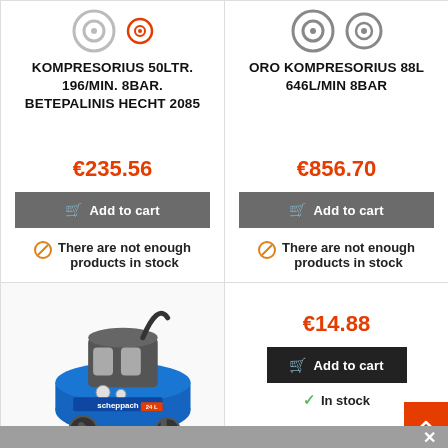[Figure (photo): Wheel/tire icons for compressor product 1]
KOMPRESORIUS 50LTR. 196/MIN. 8BAR. BETEPALINIS HECHT 2085
€235.56
Add to cart
There are not enough products in stock
[Figure (photo): Wheel/tire icons for compressor product 2]
ORO KOMPRESORIUS 88L 646L/MIN 8BAR
€856.70
Add to cart
There are not enough products in stock
[Figure (photo): Scheppach 24L blue air compressor on wheels]
€14.88
Add to cart
In stock